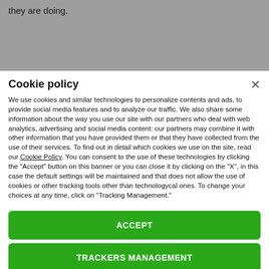they are doing.
Cookie policy
We use cookies and similar technologies to personalize contents and ads, to provide social media features and to analyze our traffic. We also share some information about the way you use our site with our partners who deal with web analytics, advertising and social media content: our partners may combine it with other information that you have provided them or that they have collected from the use of their services. To find out in detail which cookies we use on the site, read our Cookie Policy. You can consent to the use of these technologies by clicking the "Accept" button on this banner or you can close it by clicking on the "X", in this case the default settings will be maintained and that does not allow the use of cookies or other tracking tools other than technologycal ones. To change your choices at any time, click on “Tracking Management.”
ACCEPT
TRACKERS MANAGEMENT
Show vendors | Show purposes